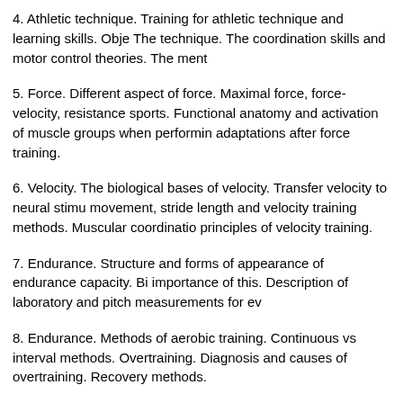4. Athletic technique. Training for athletic technique and learning skills. Obje... The technique. The coordination skills and motor control theories. The ment...
5. Force. Different aspect of force. Maximal force, force-velocity, resistance... sports. Functional anatomy and activation of muscle groups when performin... adaptations after force training.
6. Velocity. The biological bases of velocity. Transfer velocity to neural stimu... movement, stride length and velocity training methods. Muscular coordinatio... principles of velocity training.
7. Endurance. Structure and forms of appearance of endurance capacity. Bi... importance of this. Description of laboratory and pitch measurements for ev...
8. Endurance. Methods of aerobic training. Continuous vs interval methods. Overtraining. Diagnosis and causes of overtraining. Recovery methods.
9. Flexibility. Structure and different aspect of flexibility. Types of joints and s... flexibility training. Methods of training flexibility. Passive vs active stretching...
10. Tactical training. Biological bases of tactical behaviour. Cognition and m... tactical training. Examples. The specifics of team sports.